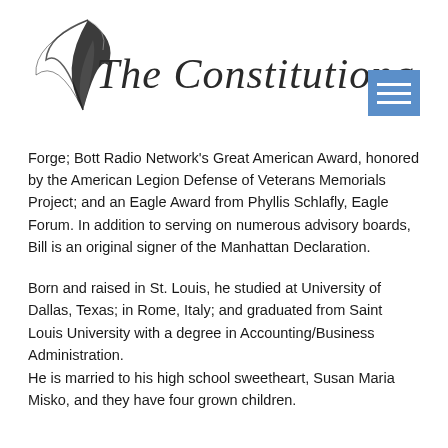[Figure (logo): The Constitutional Coalition logo with a feather quill and cursive/italic text reading 'The Constitutional Coalition']
[Figure (other): Blue hamburger menu button with three white horizontal lines]
Forge; Bott Radio Network's Great American Award, honored by the American Legion Defense of Veterans Memorials Project; and an Eagle Award from Phyllis Schlafly, Eagle Forum. In addition to serving on numerous advisory boards, Bill is an original signer of the Manhattan Declaration.
Born and raised in St. Louis, he studied at University of Dallas, Texas; in Rome, Italy; and graduated from Saint Louis University with a degree in Accounting/Business Administration. He is married to his high school sweetheart, Susan Maria Misko, and they have four grown children.